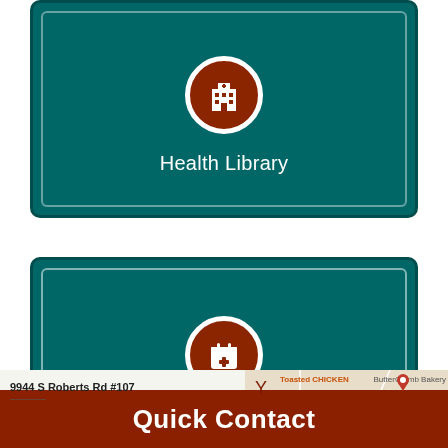[Figure (screenshot): Health Library button card - dark teal rounded rectangle with brown circle icon showing a hospital building symbol and white text 'Health Library']
[Figure (screenshot): Request an Appointment button card - dark teal rounded rectangle with brown circle icon showing a calendar with plus symbol and white text 'Request an Appointment']
[Figure (map): Partial Google Maps view showing address 9944 S Roberts Rd #107, with map tiles and business labels including Toasted Chicken, ButterCrumb Bakery]
Quick Contact